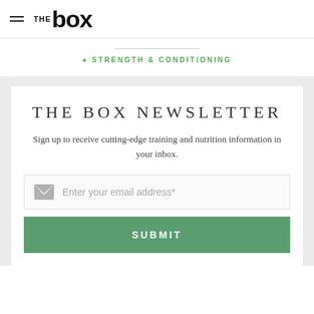THE BOX
• STRENGTH & CONDITIONING
THE BOX NEWSLETTER
Sign up to receive cutting-edge training and nutrition information in your inbox.
Enter your email address*
SUBMIT